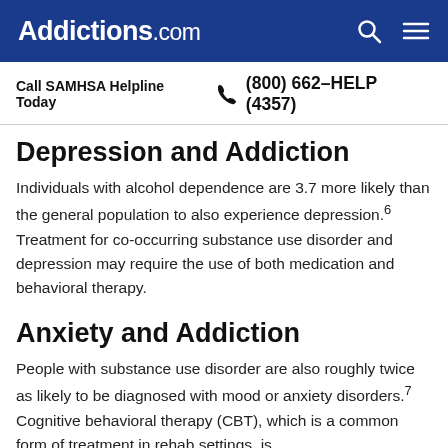Addictions.com
Call SAMHSA Helpline Today  (800) 662-HELP (4357)
Depression and Addiction
Individuals with alcohol dependence are 3.7 more likely than the general population to also experience depression.6 Treatment for co-occurring substance use disorder and depression may require the use of both medication and behavioral therapy.
Anxiety and Addiction
People with substance use disorder are also roughly twice as likely to be diagnosed with mood or anxiety disorders.7 Cognitive behavioral therapy (CBT), which is a common form of treatment in rehab settings, is